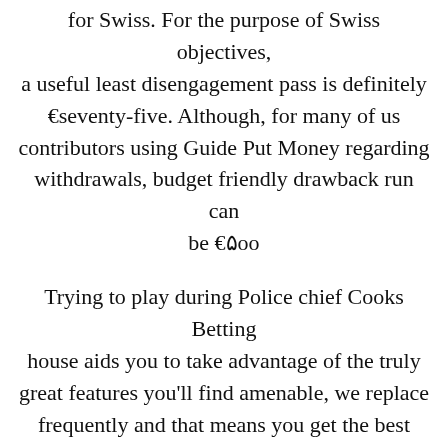for Swiss. For the purpose of Swiss objectives, a useful least disengagement pass is definitely €seventy-five. Although, for many of us contributors using Guide Put Money regarding withdrawals, budget friendly drawback run can be €۵οο
Trying to play during Police chief Cooks Betting house aids you to take advantage of the truly great features you'll find amenable, we replace frequently and that means you get the best advertisings. Additionally you can take full advantage of Gambling house Positive aspects, among the most successful gambling on devotion systems internet. Canadians are invariably following a sentry with respect to on-